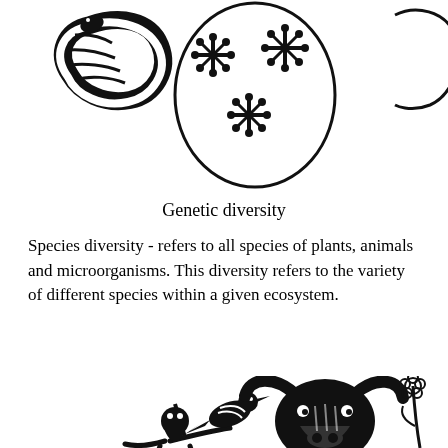[Figure (illustration): Top portion of page showing biological diversity illustrations: a snake-like organism on the left, a circular diagram with star/snowflake shapes representing genetic diversity in the center, and a partial circular shape on the right.]
Genetic diversity
Species diversity - refers to all species of plants, animals and microorganisms. This diversity refers to the variety of different species within a given ecosystem.
[Figure (illustration): Bottom portion of page showing black and white woodblock-style illustrations of various species representing species diversity: a bird perched on a branch, a bull/buffalo head with horns, flowering plants, and a frog or amphibian figure.]